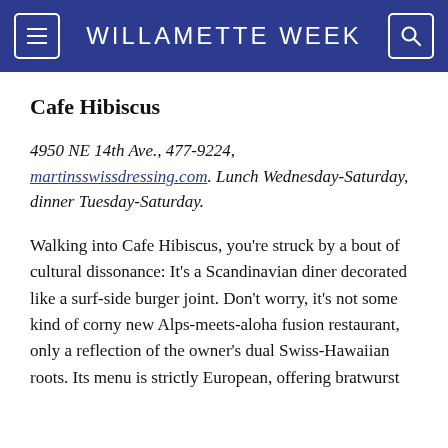WILLAMETTE WEEK
Cafe Hibiscus
4950 NE 14th Ave., 477-9224, martinsswissdressing.com. Lunch Wednesday-Saturday, dinner Tuesday-Saturday.
Walking into Cafe Hibiscus, you're struck by a bout of cultural dissonance: It's a Scandinavian diner decorated like a surf-side burger joint. Don't worry, it's not some kind of corny new Alps-meets-aloha fusion restaurant, only a reflection of the owner's dual Swiss-Hawaiian roots. Its menu is strictly European, offering bratwurst